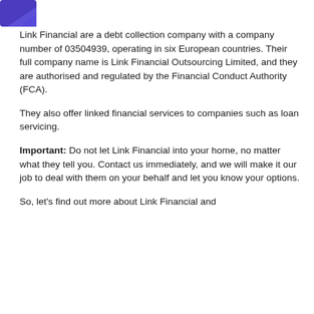[Figure (logo): Blue and purple logo graphic in top-left corner (partially visible)]
Link Financial are a debt collection company with a company number of 03504939, operating in six European countries. Their full company name is Link Financial Outsourcing Limited, and they are authorised and regulated by the Financial Conduct Authority (FCA).
They also offer linked financial services to companies such as loan servicing.
Important: Do not let Link Financial into your home, no matter what they tell you. Contact us immediately, and we will make it our job to deal with them on your behalf and let you know your options.
So, let's find out more about Link Financial and